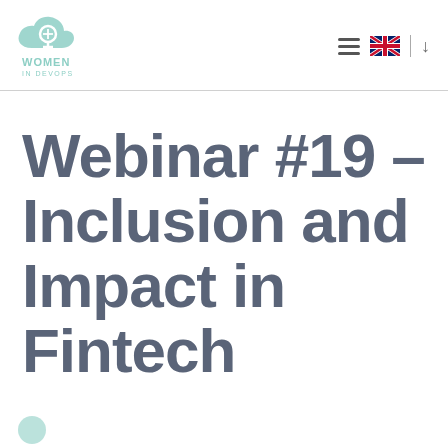[Figure (logo): Women in DevOps logo: mint green cloud with female/Venus symbol inside, text 'WOMEN IN DEVOPS' below]
Webinar #19 – Inclusion and Impact in Fintech